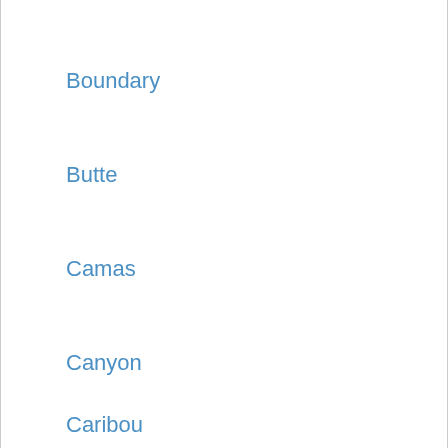Boundary
Butte
Camas
Canyon
Caribou